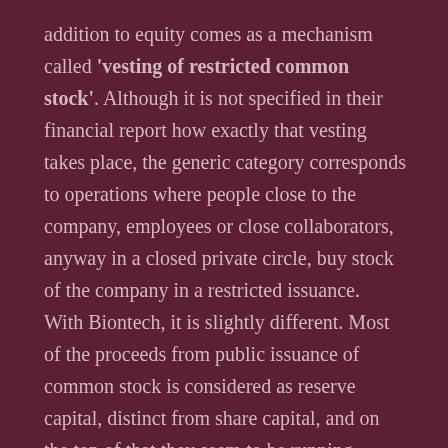addition to equity comes as a mechanism called 'vesting of restricted common stock'. Although it is not specified in their financial report how exactly that vesting takes place, the generic category corresponds to operations where people close to the company, employees or close collaborators, anyway in a closed private circle, buy stock of the company in a restricted issuance. With Biontech, it is slightly different. Most of the proceeds from public issuance of common stock is considered as reserve capital, distinct from share capital, and on the top of that they seem to be running, similarly to Moderna, transactions of vesting restricted stock. Another important source of financing in both companies are short-term liabilities, mostly deferred transactional payments. Still, I have an intuitive